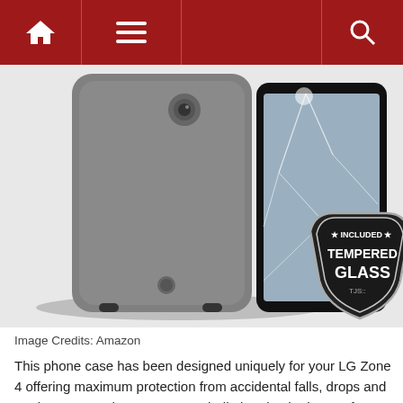Navigation bar with home, menu, and search icons
[Figure (photo): Product photo of a gray LG Zone 4 phone case shown from behind alongside a smartphone with a shattered screen, featuring a badge overlay reading '* INCLUDED * TEMPERED GLASS TJS']
Image Credits: Amazon
This phone case has been designed uniquely for your LG Zone 4 offering maximum protection from accidental falls, drops and routine wear and tear. Its outer shell absorbs the impact from drops or hits, and the inner layer reinforces the impact absorption and makes sure